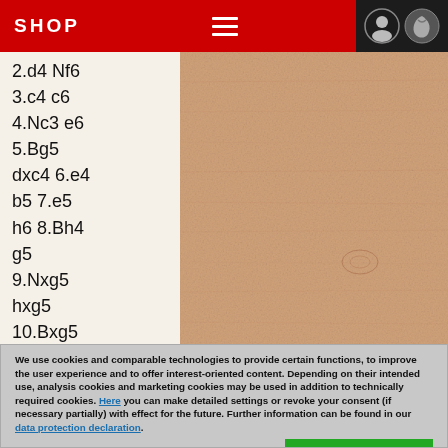SHOP
2.d4 Nf6
3.c4 c6
4.Nc3 e6
5.Bg5
dxc4 6.e4
b5 7.e5
h6 8.Bh4
g5
9.Nxg5
hxg5
10.Bxg5
Be7
[Figure (photo): Tan/beige textured background, possibly wood or fabric surface]
We use cookies and comparable technologies to provide certain functions, to improve the user experience and to offer interest-oriented content. Depending on their intended use, analysis cookies and marketing cookies may be used in addition to technically required cookies. Here you can make detailed settings or revoke your consent (if necessary partially) with effect for the future. Further information can be found in our data protection declaration.